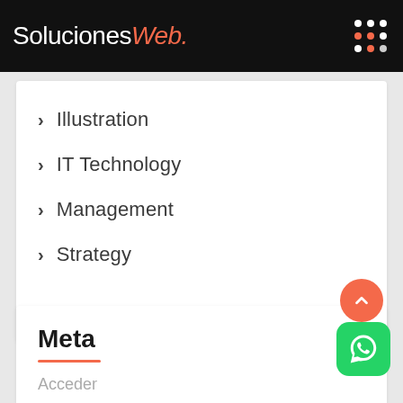SolucionesWeb.
Illustration
IT Technology
Management
Strategy
Meta
Acceder